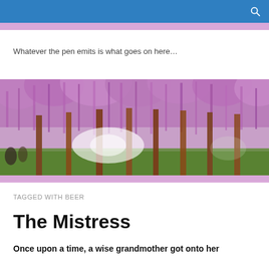Whatever the pen emits is what goes on here…
[Figure (photo): Panoramic photo of a wisteria tree garden with cascading purple and pink flowers forming a canopy over tall brown trunks, with greenery and people visible below]
TAGGED WITH BEER
The Mistress
Once upon a time, a wise grandmother got onto her